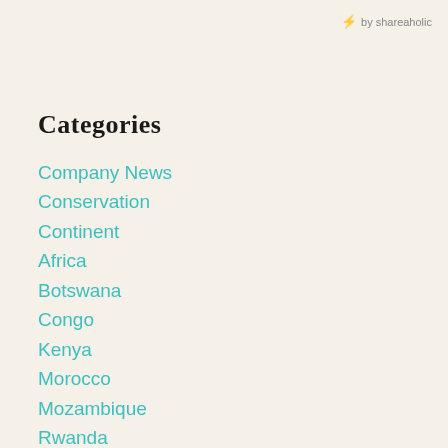⚡ by shareaholic
Categories
Company News
Conservation
Continent
Africa
Botswana
Congo
Kenya
Morocco
Mozambique
Rwanda